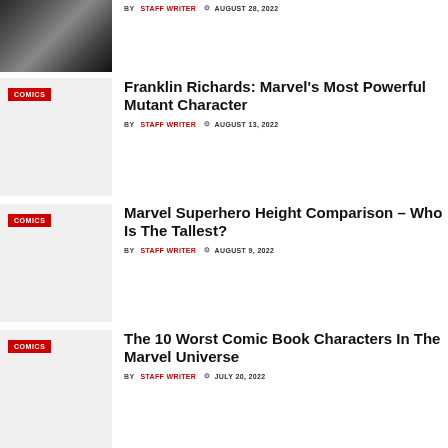[Figure (photo): Woman in black outfit, partial view at top of page]
BY STAFF WRITER AUGUST 28, 2022
[Figure (photo): Article thumbnail with COMICS tag - Franklin Richards article]
Franklin Richards: Marvel's Most Powerful Mutant Character
BY STAFF WRITER AUGUST 13, 2022
[Figure (photo): Article thumbnail with COMICS tag - Marvel Superhero Height Comparison article]
Marvel Superhero Height Comparison – Who Is The Tallest?
BY STAFF WRITER AUGUST 9, 2022
[Figure (photo): Article thumbnail with COMICS tag - 10 Worst Comic Book Characters article]
The 10 Worst Comic Book Characters In The Marvel Universe
BY STAFF WRITER JULY 20, 2022